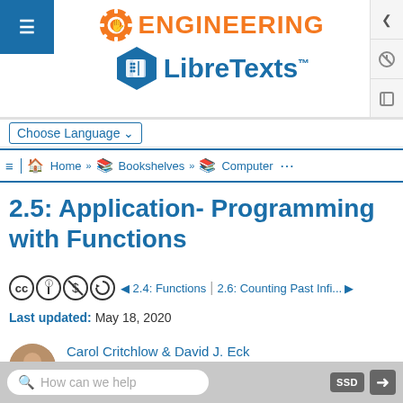[Figure (logo): Engineering LibreTexts logo with gear and book icons, orange ENGINEERING text and blue LibreTexts text]
Choose Language
Home » Bookshelves » Computer …
2.5: Application- Programming with Functions
CC license icons | ◄ 2.4: Functions | 2.6: Counting Past Infi... ►
Last updated: May 18, 2020
Carol Critchlow & David J. Eck
Hobart and William Smith Colleges
How can we help